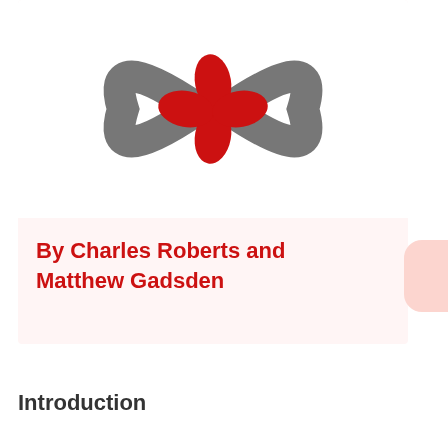[Figure (logo): A logo with two large grey curved parenthesis-like shapes flanking a central red four-petal flower/asterisk shape on a white background]
By Charles Roberts and Matthew Gadsden
Introduction